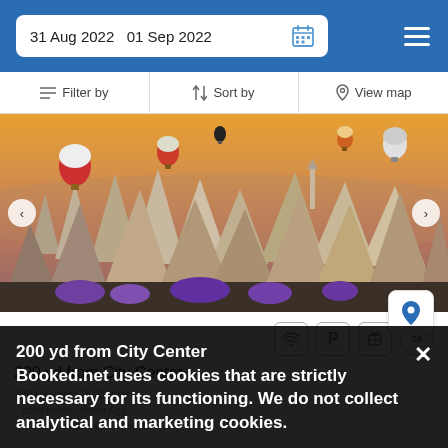31 Aug 2022  01 Sep 2022
Filter by | Sort by | View map
[Figure (photo): Cappadocia landscape with hot air balloons at sunset, distinctive fairy chimney rock formations, and purple flowers in the foreground]
200 yd from City Center
200 yd from City Center
Booked.net uses cookies that are strictly necessary for its functioning. We do not collect analytical and marketing cookies.